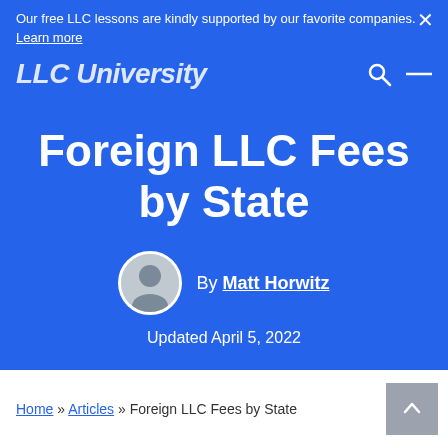Our free LLC lessons are kindly supported by our favorite companies.
Learn more
LLC University
Foreign LLC Fees by State
By Matt Horwitz
Updated April 5, 2022
Home » Articles » Foreign LLC Fees by State